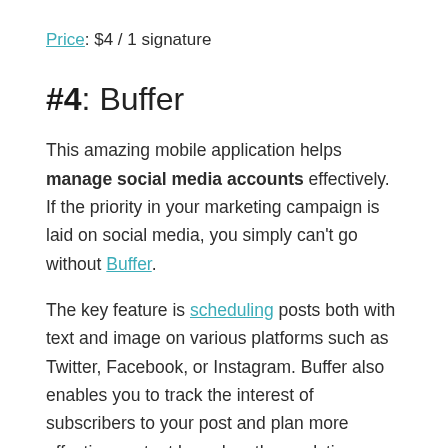Price: $4 / 1 signature
#4: Buffer
This amazing mobile application helps manage social media accounts effectively. If the priority in your marketing campaign is laid on social media, you simply can't go without Buffer.
The key feature is scheduling posts both with text and image on various platforms such as Twitter, Facebook, or Instagram. Buffer also enables you to track the interest of subscribers to your post and plan more effective content based on the analytics reports. The app can be useful both for companies and individuals.
Price: $10 / month